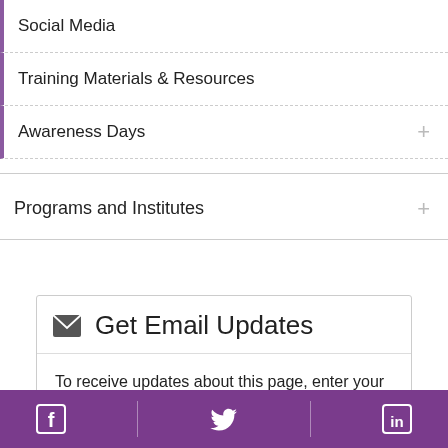Social Media
Training Materials & Resources
Awareness Days
Programs and Institutes
Get Email Updates
To receive updates about this page, enter your email address:
Facebook | Twitter | LinkedIn